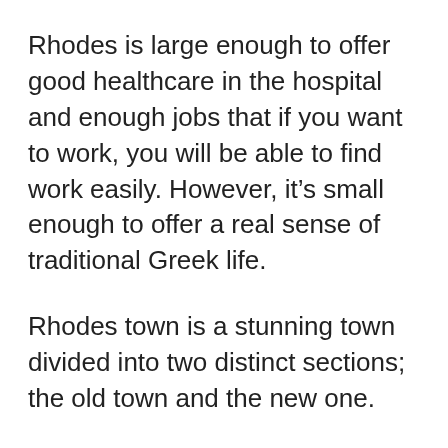Rhodes is large enough to offer good healthcare in the hospital and enough jobs that if you want to work, you will be able to find work easily. However, it’s small enough to offer a real sense of traditional Greek life.
Rhodes town is a stunning town divided into two distinct sections; the old town and the new one.
As with much of Greece, the historic old town has some serious charm and is packed full of little bistros, tiny storefronts, and windy